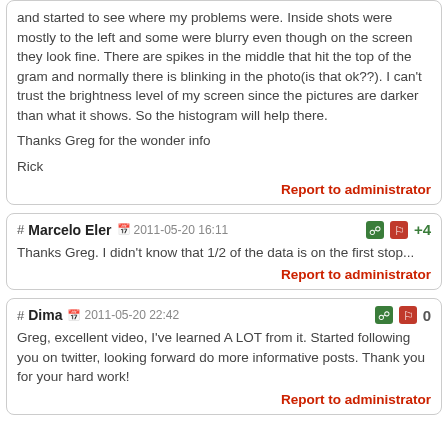and started to see where my problems were. Inside shots were mostly to the left and some were blurry even though on the screen they look fine. There are spikes in the middle that hit the top of the gram and normally there is blinking in the photo(is that ok??). I can't trust the brightness level of my screen since the pictures are darker than what it shows. So the histogram will help there.

Thanks Greg for the wonder info

Rick
Report to administrator
# Marcelo Eler  2011-05-20 16:11  +4
Thanks Greg. I didn't know that 1/2 of the data is on the first stop...
Report to administrator
# Dima  2011-05-20 22:42  0
Greg, excellent video, I've learned A LOT from it. Started following you on twitter, looking forward do more informative posts. Thank you for your hard work!
Report to administrator